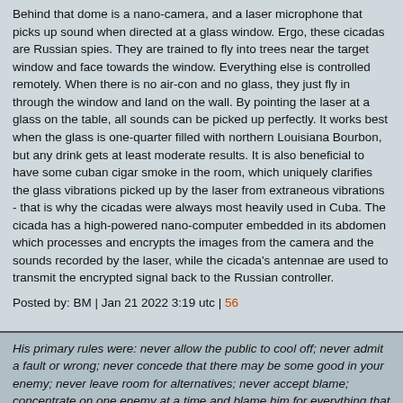Behind that dome is a nano-camera, and a laser microphone that picks up sound when directed at a glass window. Ergo, these cicadas are Russian spies. They are trained to fly into trees near the target window and face towards the window. Everything else is controlled remotely. When there is no air-con and no glass, they just fly in through the window and land on the wall. By pointing the laser at a glass on the table, all sounds can be picked up perfectly. It works best when the glass is one-quarter filled with northern Louisiana Bourbon, but any drink gets at least moderate results. It is also beneficial to have some cuban cigar smoke in the room, which uniquely clarifies the glass vibrations picked up by the laser from extraneous vibrations - that is why the cicadas were always most heavily used in Cuba. The cicada has a high-powered nano-computer embedded in its abdomen which processes and encrypts the images from the camera and the sounds recorded by the laser, while the cicada's antennae are used to transmit the encrypted signal back to the Russian controller.
Posted by: BM | Jan 21 2022 3:19 utc | 56
His primary rules were: never allow the public to cool off; never admit a fault or wrong; never concede that there may be some good in your enemy; never leave room for alternatives; never accept blame; concentrate on one enemy at a time and blame him for everything that goes wrong; people will believe a big lie sooner than a little one;